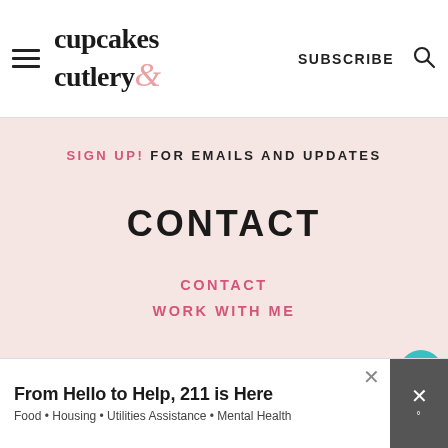cupcakes & cutlery — SUBSCRIBE [search icon]
SIGN UP! FOR EMAILS AND UPDATES
CONTACT
CONTACT
WORK WITH ME
© 2008-2022 CUPCAKES & CUTLERY. ALL RIGHTS RESERVED.
[Figure (screenshot): Floating heart button (teal circle with heart icon) and share button with count 111]
[Figure (screenshot): Advertisement banner: From Hello to Help, 211 is Here — Food • Housing • Utilities Assistance • Mental Health]